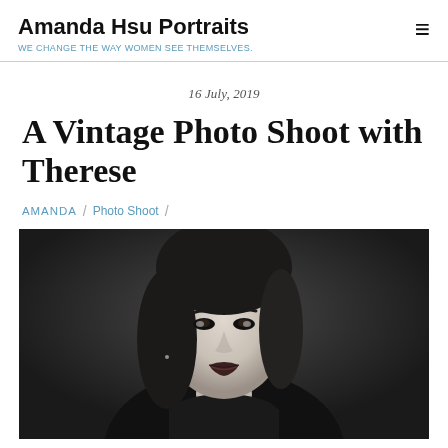Amanda Hsu Portraits / WE CHANGE THE WAY WOMEN SEE THEMSELVES.
16 July, 2019
A Vintage Photo Shoot with Therese
AMANDA / Photo Shoot /
[Figure (photo): Black and white portrait photograph of a woman with dark hair, wearing a black turtleneck, looking at the camera with a slight smile, against a dark studio background.]